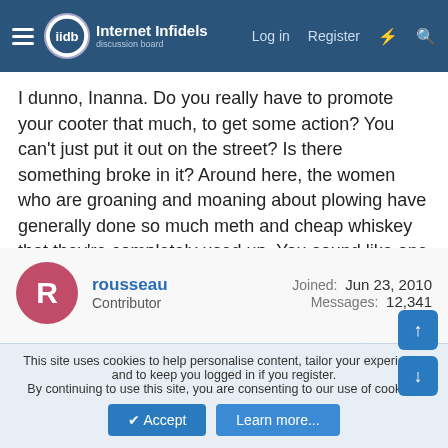Internet Infidels — Log in | Register
I dunno, Inanna. Do you really have to promote your cooter that much, to get some action? You can't just put it out on the street? Is there something broke in it? Around here, the women who are groaning and moaning about plowing have generally done so much meth and cheap whiskey that they're completely used up. You sound like one big Sumerian mess.
rousseau
Contributor
Joined: Jun 23, 2010
Messages: 12,341
Sep 2, 2021
#838
Books I'm not reading but that are coming in the mail:
This site uses cookies to help personalise content, tailor your experience and to keep you logged in if you register.
By continuing to use this site, you are consenting to our use of cookies.